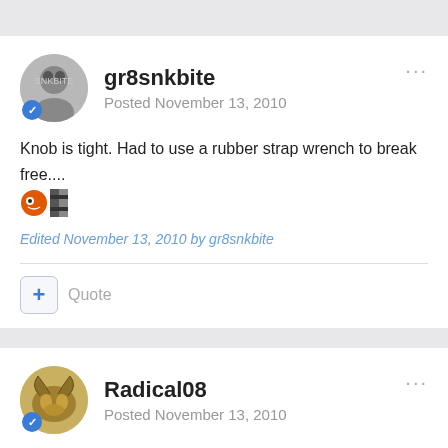gr8snkbite
Posted November 13, 2010
Knob is tight. Had to use a rubber strap wrench to break free....
Edited November 13, 2010 by gr8snkbite
+ Quote
Radical08
Posted November 13, 2010
On 11/13/2010 at 1:57 AM, CMG said: